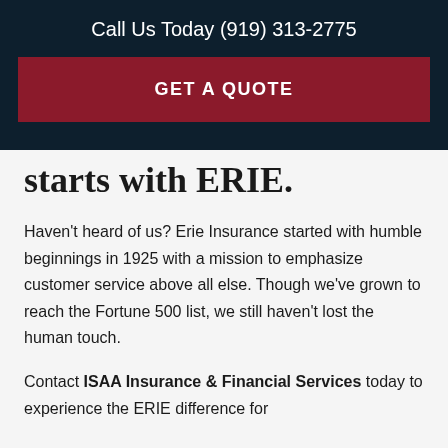Call Us Today (919) 313-2775
GET A QUOTE
starts with ERIE.
Haven't heard of us? Erie Insurance started with humble beginnings in 1925 with a mission to emphasize customer service above all else. Though we've grown to reach the Fortune 500 list, we still haven't lost the human touch.
Contact ISAA Insurance & Financial Services today to experience the ERIE difference for